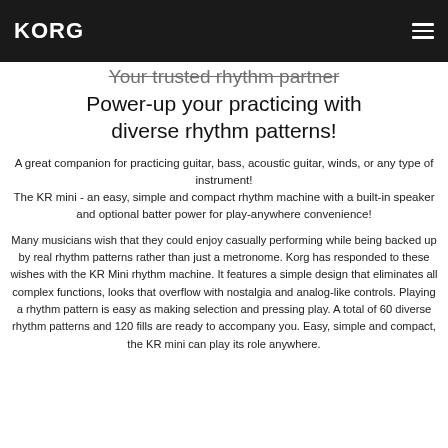KORG
Your trusted rhythm partner
Power-up your practicing with diverse rhythm patterns!
A great companion for practicing guitar, bass, acoustic guitar, winds, or any type of instrument!
The KR mini - an easy, simple and compact rhythm machine with a built-in speaker and optional batter power for play-anywhere convenience!
Many musicians wish that they could enjoy casually performing while being backed up by real rhythm patterns rather than just a metronome. Korg has responded to these wishes with the KR Mini rhythm machine. It features a simple design that eliminates all complex functions, looks that overflow with nostalgia and analog-like controls. Playing a rhythm pattern is easy as making selection and pressing play. A total of 60 diverse rhythm patterns and 120 fills are ready to accompany you. Easy, simple and compact, the KR mini can play its role anywhere.